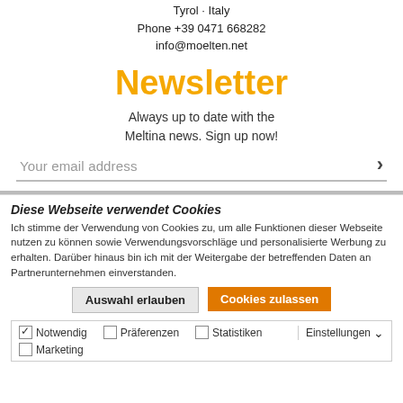Tyrol · Italy
Phone +39 0471 668282
info@moelten.net
Newsletter
Always up to date with the Meltina news. Sign up now!
Your email address
Diese Webseite verwendet Cookies
Ich stimme der Verwendung von Cookies zu, um alle Funktionen dieser Webseite nutzen zu können sowie Verwendungsvorschläge und personalisierte Werbung zu erhalten. Darüber hinaus bin ich mit der Weitergabe der betreffenden Daten an Partnerunternehmen einverstanden.
Auswahl erlauben | Cookies zulassen
Notwendig  Präferenzen  Statistiken  Marketing  Einstellungen